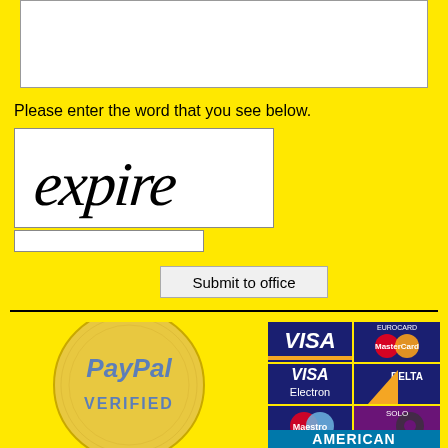[Figure (screenshot): White textarea input box]
Please enter the word that you see below.
[Figure (screenshot): CAPTCHA image showing the word 'expire' in stylized handwritten text on white background]
[Figure (screenshot): Text input field for CAPTCHA answer]
[Figure (screenshot): Submit to office button]
[Figure (logo): PayPal Verified gold seal badge]
[Figure (logo): Payment card logos: VISA, MasterCard/Eurocard, VISA Electron, Delta, Maestro, Solo, American Express]